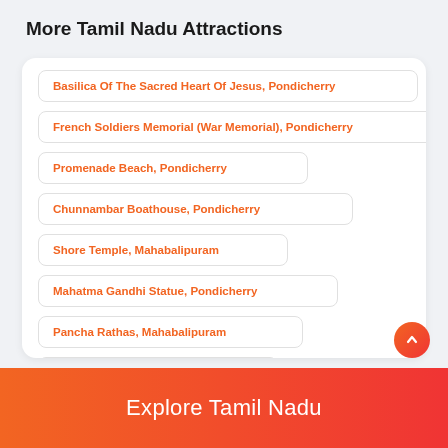More Tamil Nadu Attractions
Basilica Of The Sacred Heart Of Jesus, Pondicherry
French Soldiers Memorial (War Memorial), Pondicherry
Promenade Beach, Pondicherry
Chunnambar Boathouse, Pondicherry
Shore Temple, Mahabalipuram
Mahatma Gandhi Statue, Pondicherry
Pancha Rathas, Mahabalipuram
Serenity Beach, Pondicherry
Explore Tamil Nadu